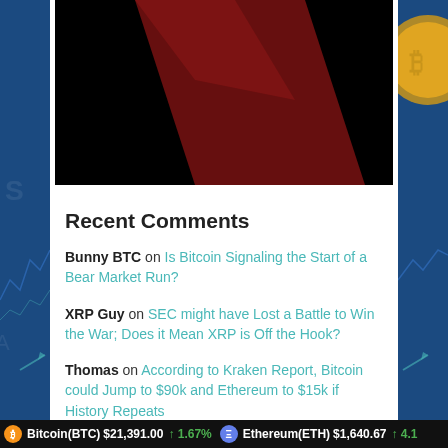[Figure (photo): A dark/black background image with a dark red diagonal rectangular shape (bear market visual), cropped at top of frame]
Recent Comments
Bunny BTC on Is Bitcoin Signaling the Start of a Bear Market Run?
XRP Guy on SEC might have Lost a Battle to Win the War; Does it Mean XRP is Off the Hook?
Thomas on According to Kraken Report, Bitcoin could Jump to $90k and Ethereum to $15k if History Repeats
Bitcoin(BTC) $21,391.00 ↑ 1.67%   Ethereum(ETH) $1,640.67 ↑ 4.1